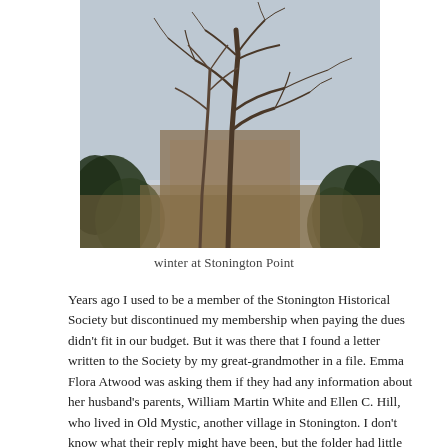[Figure (photo): Winter outdoor photograph showing bare trees with sparse branches against a cloudy sky, with clusters of evergreen shrubs and dry brown vegetation in the foreground. Black and white/muted tones suggesting a cold winter scene at Stonington Point.]
winter at Stonington Point
Years ago I used to be a member of the Stonington Historical Society but discontinued my membership when paying the dues didn't fit in our budget. But it was there that I found a letter written to the Society by my great-grandmother in a file. Emma Flora Atwood was asking them if they had any information about her husband's parents, William Martin White and Ellen C. Hill, who lived in Old Mystic, another village in Stonington. I don't know what their reply might have been, but the folder had little else in it. It was exciting to handle a piece of paper that she had